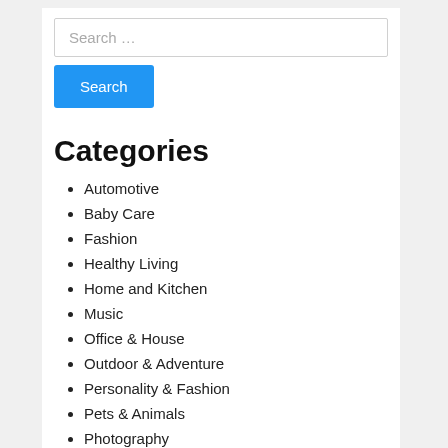Search …
Search
Categories
Automotive
Baby Care
Fashion
Healthy Living
Home and Kitchen
Music
Office & House
Outdoor & Adventure
Personality & Fashion
Pets & Animals
Photography